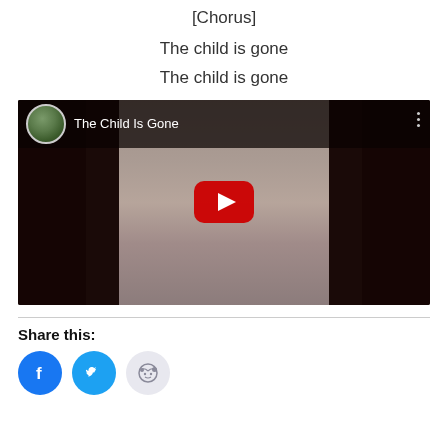[Chorus]
The child is gone
The child is gone
[Figure (screenshot): YouTube video player thumbnail showing 'The Child Is Gone' with a close-up of a baby's face. Has a red YouTube play button in the center, a circular avatar thumbnail in the top-left, the video title 'The Child Is Gone' in white text, and a three-dot menu icon on the right.]
Share this:
[Figure (other): Social share icons: Facebook (blue circle), Twitter (cyan circle), Reddit (light gray circle)]